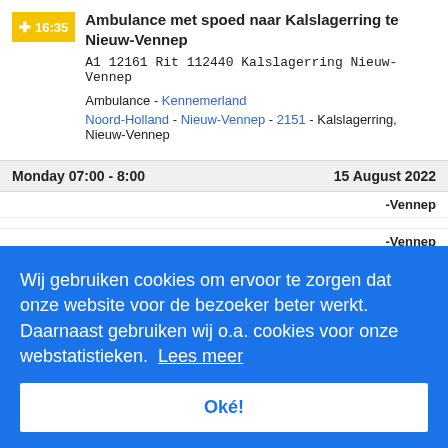16:35 Ambulance met spoed naar Kalslagerring te Nieuw-Vennep
A1 12161 Rit 112440 Kalslagerring Nieuw-Vennep
Ambulance - Kennemerland
Noord-Holland - Nieuw-Vennep - 2151 - Kalslagerring, Nieuw-Vennep
Monday 07:00 - 8:00   15 August 2022
-Vennep
Wij gebruiken cookies om ervoor te zorgen dat onze website voor de bezoeker beter werkt. Daarnaast gebruiken wij o.a. cookies voor onze webstatistieken.  Lees meer
Oké!
-Vennep
ust 2022
nnep
Vennep